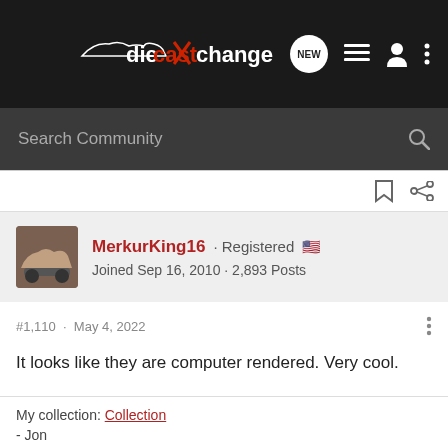[Figure (logo): diecastXchange logo in white on dark background, top navigation bar with NEW chat bubble, list icon, user icon, and vertical dots menu]
Search Community
MerkurKing16 · Registered 🇺🇸
Joined Sep 16, 2010 · 2,893 Posts
#1,110 · May 4, 2022
It looks like they are computer rendered. Very cool.
My collection: Collection
- Jon